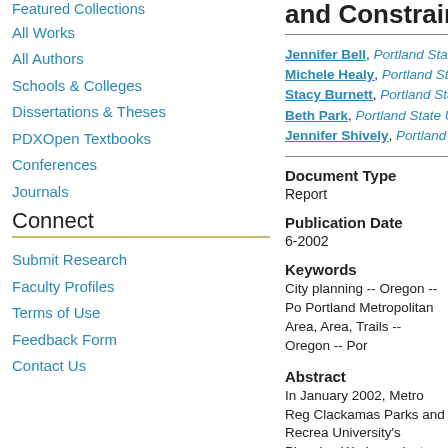Featured Collections
All Works
All Authors
Schools & Colleges
Dissertations & Theses
PDXOpen Textbooks
Conferences
Journals
Connect
Submit Research
Faculty Profiles
Terms of Use
Feedback Form
Contact Us
and Constraints
Jennifer Bell, Portland State
Michele Healy, Portland Sta
Stacy Burnett, Portland Stat
Beth Park, Portland State Ur
Jennifer Shively, Portland S
Document Type
Report
Publication Date
6-2002
Keywords
City planning -- Oregon -- Po Portland Metropolitan Area, Area, Trails -- Oregon -- Por
Abstract
In January 2002, Metro Reg Clackamas Parks and Recrea University's Planning Works project. Metro is the regiona Within Metro, the Regional P